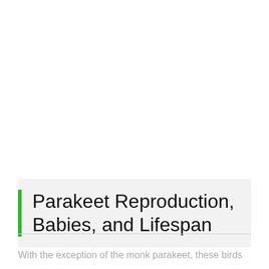Parakeet Reproduction, Babies, and Lifespan
With the exception of the monk parakeet, these birds